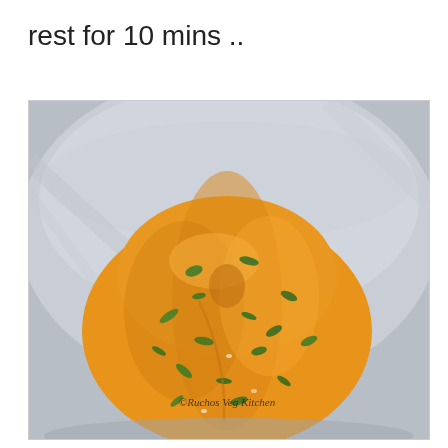rest for 10 mins ..
[Figure (photo): A ball of orange-yellow spiced dough with green herb pieces (methi/fenugreek leaves) resting in a stainless steel bowl. Watermark reads '© Ruchos Veg Kitchen'.]